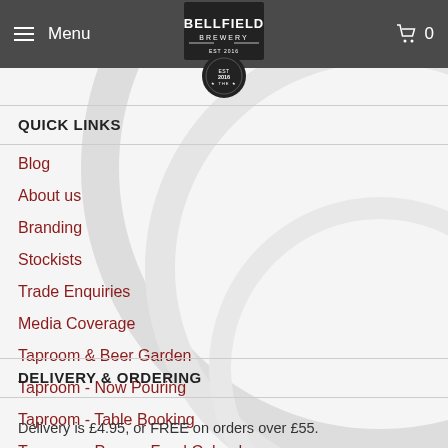Menu | BELLFIELD BREWERY | 0
QUICK LINKS
Blog
About us
Branding
Stockists
Trade Enquiries
Media Coverage
Taproom & Beer Garden
Taproom - Now Pouring
Taproom - Table Booking
Taproom - Pop-up Food Calendar
DELIVERY & ORDERING
Delivery is £4.95, or FREE on orders over £55.